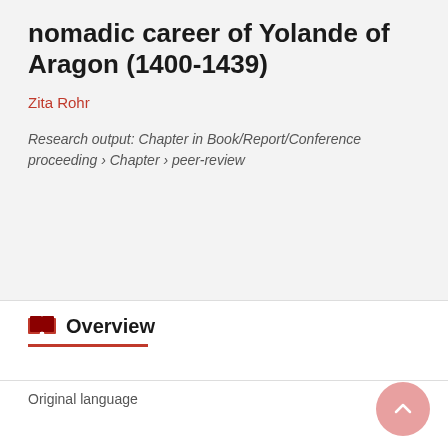nomadic career of Yolande of Aragon (1400-1439)
Zita Rohr
Research output: Chapter in Book/Report/Conference proceeding › Chapter › peer-review
Overview
Original language